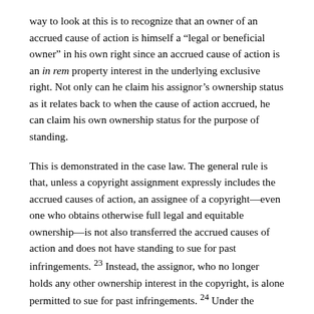way to look at this is to recognize that an owner of an accrued cause of action is himself a “legal or beneficial owner” in his own right since an accrued cause of action is an in rem property interest in the underlying exclusive right. Not only can he claim his assignor’s ownership status as it relates back to when the cause of action accrued, he can claim his own ownership status for the purpose of standing.
This is demonstrated in the case law. The general rule is that, unless a copyright assignment expressly includes the accrued causes of action, an assignee of a copyright—even one who obtains otherwise full legal and equitable ownership—is not also transferred the accrued causes of action and does not have standing to sue for past infringements. 23 Instead, the assignor, who no longer holds any other ownership interest in the copyright, is alone permitted to sue for past infringements. 24 Under the majority’s logic, this should not be possible since it reasons that a party who holds only the accrued causes of action and no other ownership interest is not a “legal or beneficial owner”